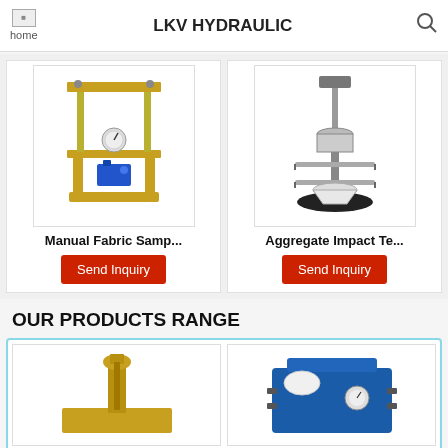LKV HYDRAULIC
[Figure (photo): Manual Fabric Sample Cutter / Hydraulic press machine with metal frame and blue pump base]
Manual Fabric Samp...
[Figure (photo): Aggregate Impact Tester with metal rod assembly and circular base]
Aggregate Impact Te...
OUR PRODUCTS RANGE
[Figure (photo): Brass/gold colored mechanical testing device with screw mechanism]
[Figure (photo): Blue hydraulic equipment with hoses and fittings]